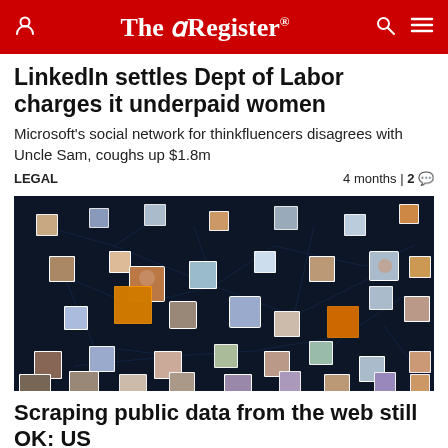The Register
LinkedIn settles Dept of Labor charges it underpaid women
Microsoft's social network for thinkfluencers disagrees with Uncle Sam, coughs up $1.8m
LEGAL   4 months | 2
[Figure (photo): Network visualization showing many profile photos connected across a dark blue background, representing a social/professional network.]
Scraping public data from the web still OK: US